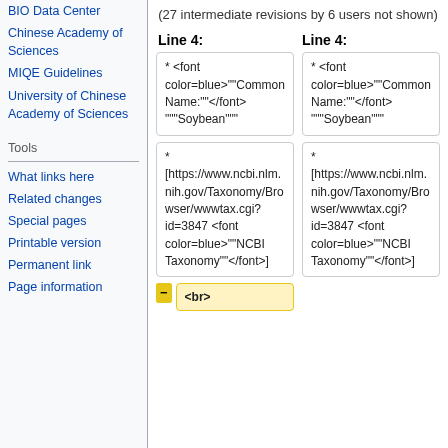BIO Data Center
Chinese Academy of Sciences
MIQE Guidelines
University of Chinese Academy of Sciences
Tools
What links here
Related changes
Special pages
Printable version
Permanent link
Page information
(27 intermediate revisions by 6 users not shown)
Line 4:
Line 4:
* <font color=blue>""Common Name:""</font> """Soybean"""
* <font color=blue>""Common Name:""</font> """Soybean"""
* [https://www.ncbi.nlm.nih.gov/Taxonomy/Browser/wwwtax.cgi?id=3847 <font color=blue>""NCBI Taxonomy""</font>]
* [https://www.ncbi.nlm.nih.gov/Taxonomy/Browser/wwwtax.cgi?id=3847 <font color=blue>""NCBI Taxonomy""</font>]
<br>